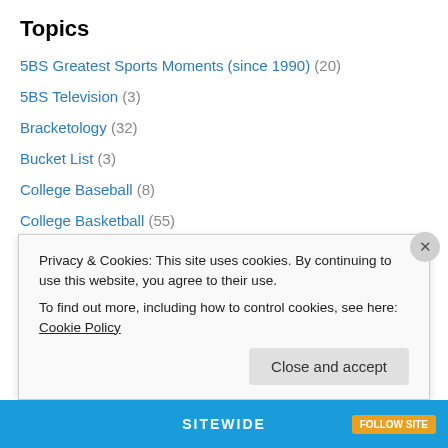Topics
5BS Greatest Sports Moments (since 1990) (20)
5BS Television (3)
Bracketology (32)
Bucket List (3)
College Baseball (8)
College Basketball (55)
College Football (39)
Fordham (2)
Giants (79)
Islanders (85)
Jets (21)
Knicks (96)
Privacy & Cookies: This site uses cookies. By continuing to use this website, you agree to their use.
To find out more, including how to control cookies, see here: Cookie Policy
Close and accept